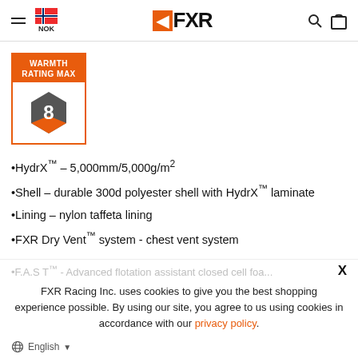NOK | FXR
[Figure (infographic): Warmth Rating Max badge with hexagon showing number 8, orange border and orange top section]
HydrX™ – 5,000mm/5,000g/m²
Shell – durable 300d polyester shell with HydrX™ laminate
Lining – nylon taffeta lining
FXR Dry Vent™ system - chest vent system
F.A.S.T™ - Advanced flotation assistant closed cell foam insulation...
FXR Racing Inc. uses cookies to give you the best shopping experience possible. By using our site, you agree to us using cookies in accordance with our privacy policy.
English